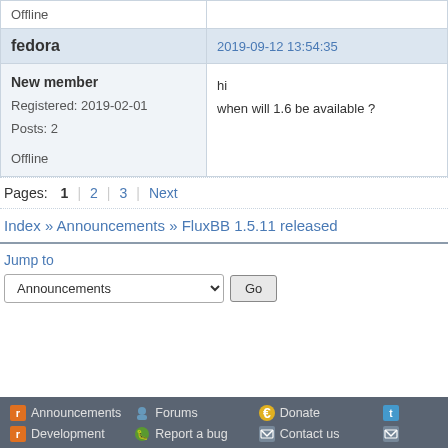| Offline |  |
| fedora | 2019-09-12 13:54:35 |
| New member
Registered: 2019-02-01
Posts: 2
Offline | hi
when will 1.6 be available ? |
Pages: 1 2 3 Next
Index » Announcements » FluxBB 1.5.11 released
Jump to
Announcements   Go
Announcements   Forums   Donate   Development   Report a bug   Contact us